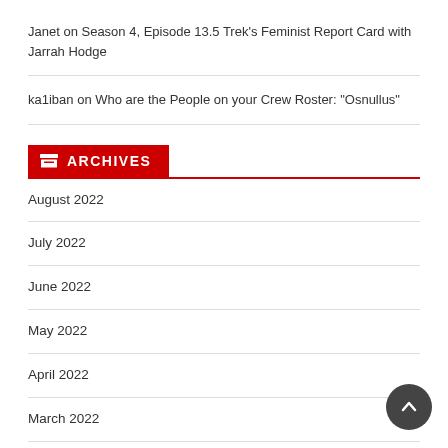Janet on Season 4, Episode 13.5 Trek's Feminist Report Card with Jarrah Hodge
ka1iban on Who are the People on your Crew Roster: "Osnullus"
ARCHIVES
August 2022
July 2022
June 2022
May 2022
April 2022
March 2022
February 2022